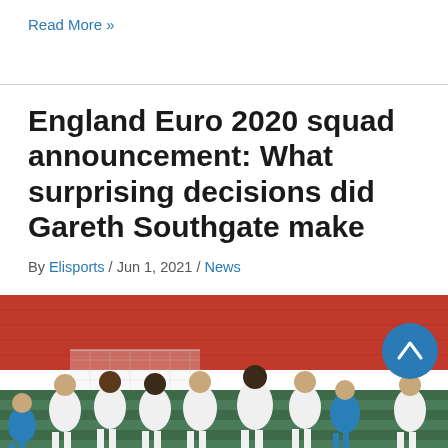Read More »
England Euro 2020 squad announcement: What surprising decisions did Gareth Southgate make
By Elisports / Jun 1, 2021 / News
[Figure (photo): England football players in white jerseys standing on a pitch with red stadium seats in background, some players in blue jerseys also visible]